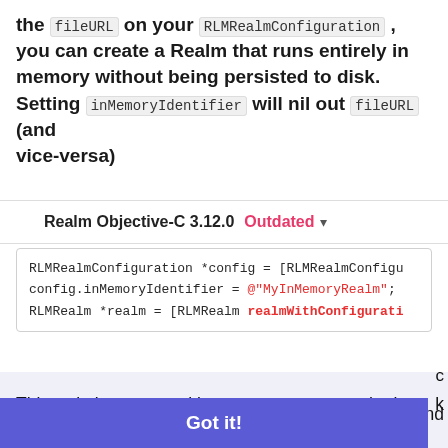the fileURL on your RLMRealmConfiguration , you can create a Realm that runs entirely in memory without being persisted to disk. Setting inMemoryIdentifier will nil out fileURL (and vice-versa)
Realm Objective-C 3.12.0  Outdated ▾
RLMRealmConfiguration *config = [RLMRealmConfigu
config.inMemoryIdentifier = @"MyInMemoryRealm";
RLMRealm *realm = [RLMRealm realmWithConfigurati
This website uses cookies to ensure you get the best experience on our website.
Learn more
Got it!